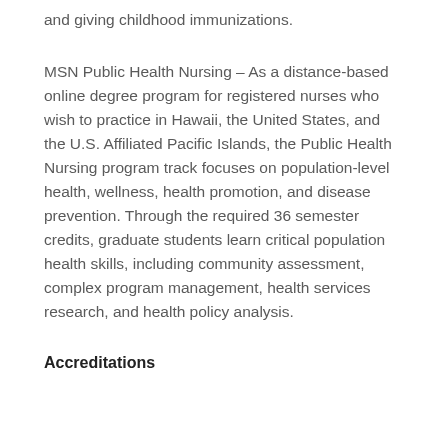and giving childhood immunizations.
MSN Public Health Nursing – As a distance-based online degree program for registered nurses who wish to practice in Hawaii, the United States, and the U.S. Affiliated Pacific Islands, the Public Health Nursing program track focuses on population-level health, wellness, health promotion, and disease prevention. Through the required 36 semester credits, graduate students learn critical population health skills, including community assessment, complex program management, health services research, and health policy analysis.
Accreditations